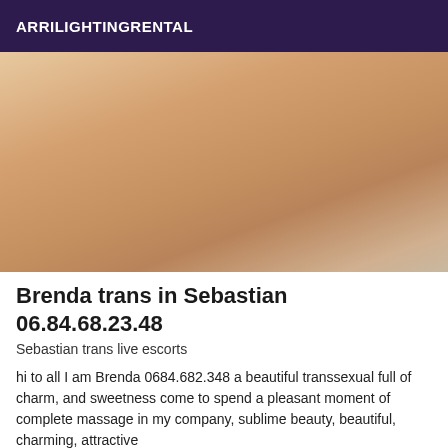ARRILIGHTINGRENTAL
[Figure (photo): A cropped torso photo of a person with skin-tone warm lighting, outdoor background]
Brenda trans in Sebastian 06.84.68.23.48
Sebastian trans live escorts
hi to all I am Brenda 0684.682.348 a beautiful transsexual full of charm, and sweetness come to spend a pleasant moment of complete massage in my company, sublime beauty, beautiful, charming, attractive